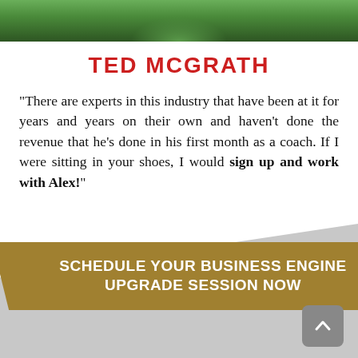[Figure (photo): Photo of Ted McGrath wearing a green shirt, cropped to show top portion]
TED MCGRATH
“There are experts in this industry that have been at it for years and years on their own and haven’t done the revenue that he’s done in his first month as a coach. If I were sitting in your shoes, I would sign up and work with Alex!”
SCHEDULE YOUR BUSINESS ENGINE UPGRADE SESSION NOW